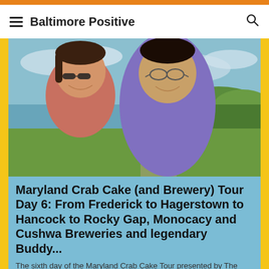Baltimore Positive
[Figure (photo): A smiling couple taking a selfie outdoors. The woman on the left wears sunglasses and a red top; the man on the right wears a purple patterned shirt and glasses. Green trees and a lake or water body are visible in the background under a cloudy sky.]
Maryland Crab Cake (and Brewery) Tour Day 6: From Frederick to Hagerstown to Hancock to Rocky Gap, Monocacy and Cushwa Breweries and legendary Buddy...
The sixth day of the Maryland Crab Cake Tour presented by The Maryland Lottery, Goodwill, Window Nation and the Restaurant Association of Maryland featured a morning of visiting our favorite city in Maryland: Frederick and then a day of exploration (and beer) west toward Hagerstown, Hancock and onto Rocky Gap Casino and Resort where we enjoyed a fire pit on the lake.